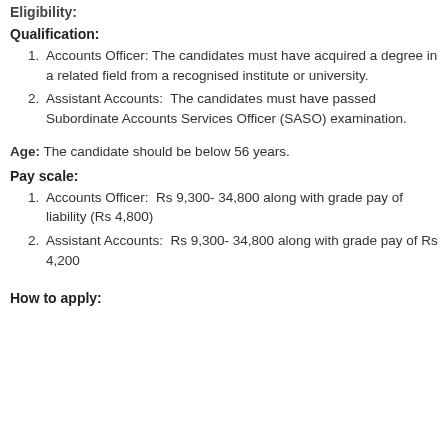Eligibility:
Qualification:
Accounts Officer: The candidates must have acquired a degree in a related field from a recognised institute or university.
Assistant Accounts:  The candidates must have passed Subordinate Accounts Services Officer (SASO) examination.
Age: The candidate should be below 56 years.
Pay scale:
Accounts Officer:  Rs 9,300- 34,800 along with grade pay of liability (Rs 4,800)
Assistant Accounts:  Rs 9,300- 34,800 along with grade pay of Rs 4,200
How to apply: